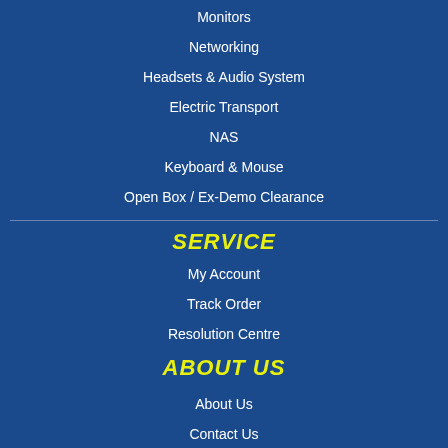Monitors
Networking
Headsets & Audio System
Electric Transport
NAS
Keyboard & Mouse
Open Box / Ex-Demo Clearance
SERVICE
My Account
Track Order
Resolution Centre
ABOUT US
About Us
Contact Us
INFORMATION